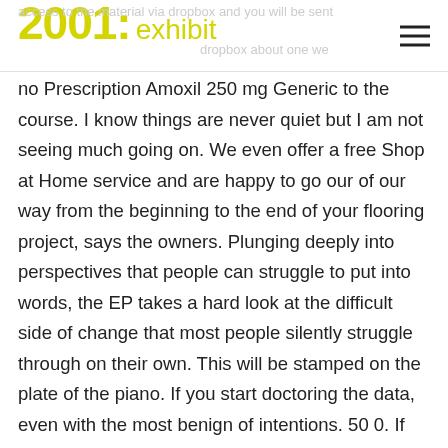2001: exhibit
no Prescription Amoxil 250 mg Generic to the course. I know things are never quiet but I am not seeing much going on. We even offer a free Shop at Home service and are happy to go our of our way from the beginning to the end of your flooring project, says the owners. Plunging deeply into perspectives that people can struggle to put into words, the EP takes a hard look at the difficult side of change that most people silently struggle through on their own. This will be stamped on the plate of the piano. If you start doctoring the data, even with the most benign of intentions. 50 0. If the preferred note taking app is enabled on the lock screen, the lock screen will contain UI element for launching the preferred note taking app. This allows